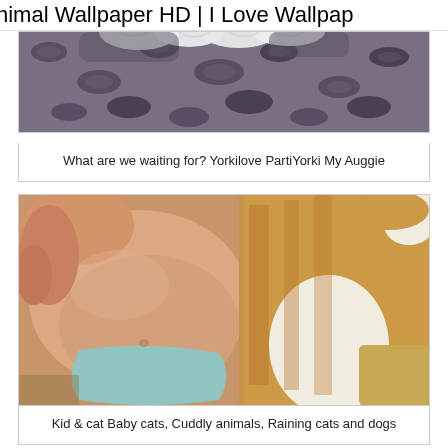nimal Wallpaper HD | I Love Wallpap
[Figure (photo): Partial view of an animal (likely a Yorkshire Terrier or similar dog) on a leopard-print background, showing white fluffy fur at top]
What are we waiting for? Yorkilove PartiYorki My Auggie
[Figure (photo): A sleeping baby in a blue diaper lying next to an orange and white tabby cat on a tan/golden fabric surface]
Kid & cat Baby cats, Cuddly animals, Raining cats and dogs